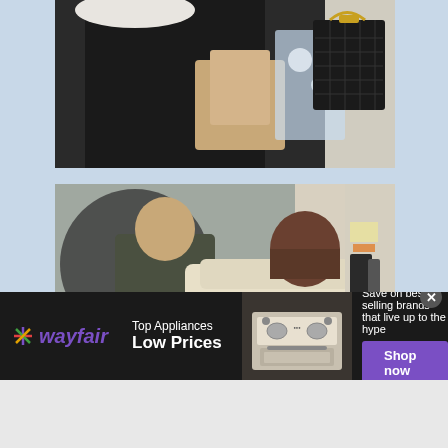[Figure (photo): Close-up photo of a person carrying shopping bags and a black quilted Dior handbag, wearing black outfit with white fur item visible]
[Figure (photo): Two women at a doorway, one wearing a cream/white fluffy jacket reaching for a door handle, the other wearing a dark scarf, both carrying handbags]
[Figure (other): Wayfair advertisement banner: logo with star, 'Top Appliances Low Prices', image of stove/range appliance, text 'Save on best selling brands that live up to the hype', purple 'Shop now' button]